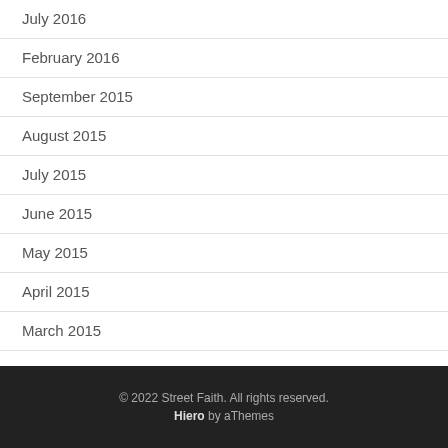July 2016
February 2016
September 2015
August 2015
July 2015
June 2015
May 2015
April 2015
March 2015
© 2022 Street Faith. All rights reserved. Hiero by aThemes